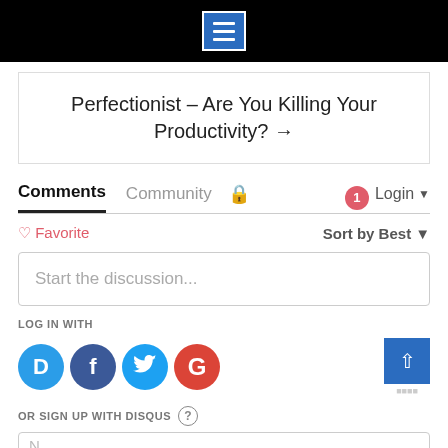[Figure (screenshot): Black top navigation bar with blue menu/hamburger icon button with white lines, centered]
Perfectionist – Are You Killing Your Productivity? →
Comments   Community   🔒   🔔1   Login ▾
♡ Favorite   Sort by Best ▾
Start the discussion...
LOG IN WITH
[Figure (logo): Social login icons: Disqus (blue D), Facebook (dark blue f), Twitter (light blue bird), Google (red G)]
OR SIGN UP WITH DISQUS ?